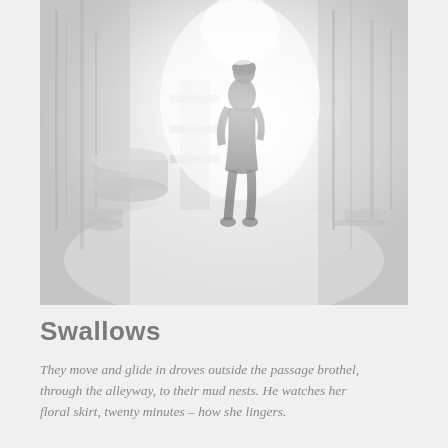[Figure (illustration): A washed-out, high-key illustration or photograph showing the silhouette of a woman with short hair standing in a bright corridor or alleyway, viewed from behind. The image is very light and desaturated, mostly whites and pale grays, with faint outlines of buildings or walls on either side. Some objects like containers or barrels are visible on the left side.]
Swallows
They move and glide in droves outside the passage brothel, through the alleyway, to their mud nests. He watches her floral skirt, twenty minutes – how she lingers.